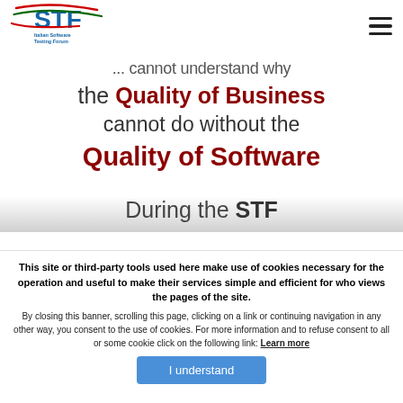STF Italian Software Testing Forum
...cannot understand why the Quality of Business cannot do without the Quality of Software
During the STF
...to the participants have ...only visitors... exhibitors... the sponsors and partners to
This site or third-party tools used here make use of cookies necessary for the operation and useful to make their services simple and efficient for who views the pages of the site. By closing this banner, scrolling this page, clicking on a link or continuing navigation in any other way, you consent to the use of cookies. For more information and to refuse consent to all or some cookie click on the following link: Learn more
I understand